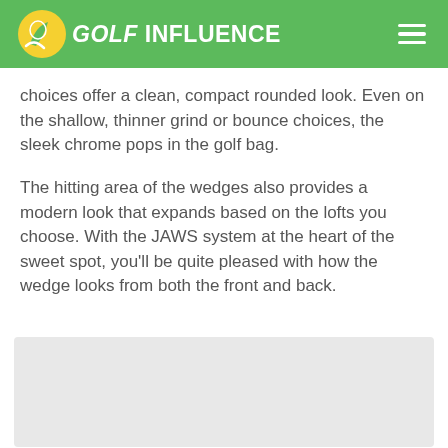GOLF INFLUENCE
choices offer a clean, compact rounded look. Even on the shallow, thinner grind or bounce choices, the sleek chrome pops in the golf bag.
The hitting area of the wedges also provides a modern look that expands based on the lofts you choose. With the JAWS system at the heart of the sweet spot, you'll be quite pleased with how the wedge looks from both the front and back.
[Figure (photo): Light gray placeholder image area at the bottom of the page]